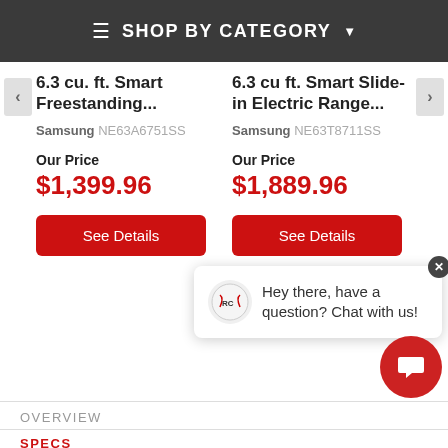SHOP BY CATEGORY
6.3 cu. ft. Smart Freestanding...
Samsung NE63A6751SS
Our Price
$1,399.96
See Details
6.3 cu ft. Smart Slide-in Electric Range...
Samsung NE63T8711SS
Our Price
$1,889.96
See Details
Hey there, have a question? Chat with us!
OVERVIEW
SPECS